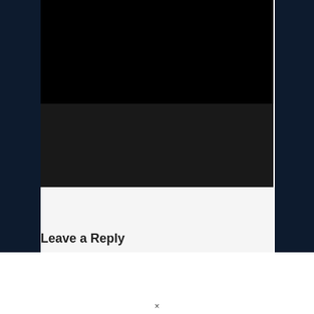[Figure (screenshot): A webpage screenshot showing a dark/black video or media player area at the top, a dark gray section below it, and a light gray section below that. Dark navy blue sidebars appear on the left and right.]
Leave a Reply